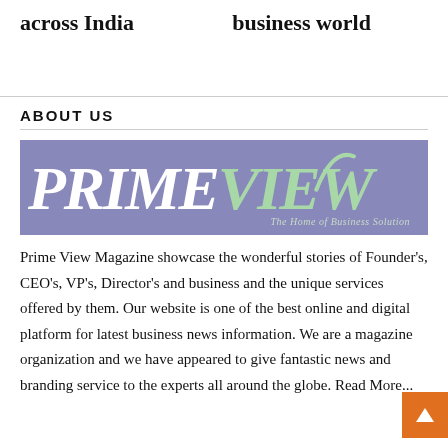across India
business world
ABOUT US
[Figure (logo): Prime View Magazine logo — purple/periwinkle background with 'PRIMEVIEW' in large serif font (PRIME in white, VIEW in light green), italic. Tagline: 'The Home of Business Solution' in light green text bottom right.]
Prime View Magazine showcase the wonderful stories of Founder's, CEO's, VP's, Director's and business and the unique services offered by them. Our website is one of the best online and digital platform for latest business news information. We are a magazine organization and we have appeared to give fantastic news and branding service to the experts all around the globe. Read More...